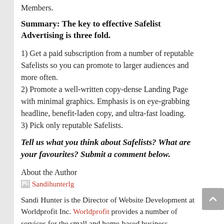Members.
Summary: The key to effective Safelist Advertising is three fold.
1) Get a paid subscription from a number of reputable Safelists so you can promote to larger audiences and more often.
2) Promote a well-written copy-dense Landing Page with minimal graphics. Emphasis is on eye-grabbing headline, benefit-laden copy, and ultra-fast loading.
3) Pick only reputable Safelists.
Tell us what you think about Safelists? What are your favourites? Submit a comment below.
About the Author
[Figure (photo): Sandihunterlg — photo of Sandi Hunter]
Sandi Hunter is the Director of Website Development at Worldprofit Inc. Worldprofit provides a number of services for the small and home-based business community including hosting, design, webconferencing, traffic, advertising, SEO, safelists, traffic exchanges, training and resources. This year Worldprofit marks their 17th year in business. Sandi Hunter's